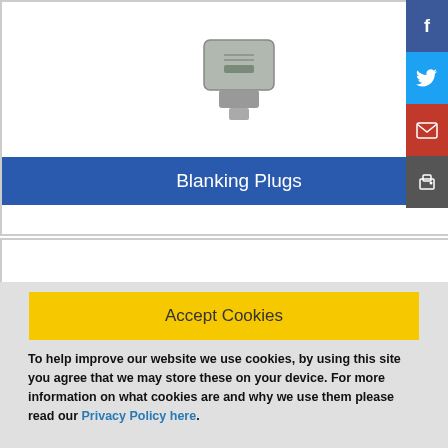[Figure (photo): Blanking Plugs product photo - metal threaded plug]
Blanking Plugs
[Figure (photo): Distribution Manifolds product photo - metal manifold block]
Distribution Manifolds
[Figure (photo): Metal hydraulic fitting/adapter close-up photo]
[Figure (photo): Blue/grey ring/seal/gasket product photo]
Accept Cookies
To help improve our website we use cookies, by using this site you agree that we may store these on your device. For more information on what cookies are and why we use them please read our Privacy Policy here.